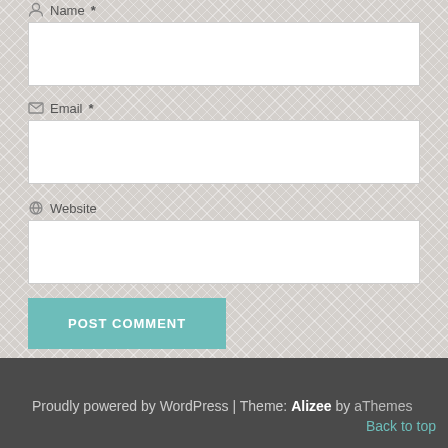Name *
[Figure (screenshot): Text input field for Name]
Email *
[Figure (screenshot): Text input field for Email]
Website
[Figure (screenshot): Text input field for Website]
[Figure (screenshot): POST COMMENT button in teal color]
Proudly powered by WordPress | Theme: Alizee by aThemes Back to top